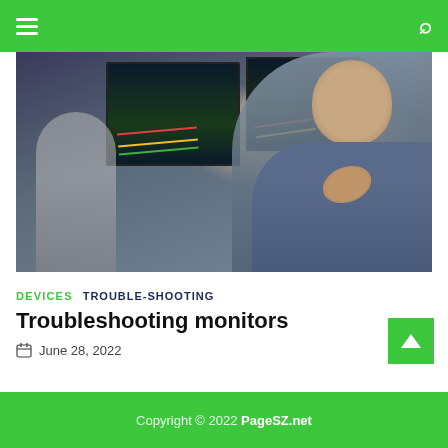Navigation bar with hamburger menu and search icon
[Figure (photo): A bald man in a blue shirt resting his chin on his hand, with computer monitors showing financial charts in the background and another person working at a desk behind him]
DEVICES  TROUBLE-SHOOTING
Troubleshooting monitors
June 28, 2022
Copyright © 2022 PageSZ.net